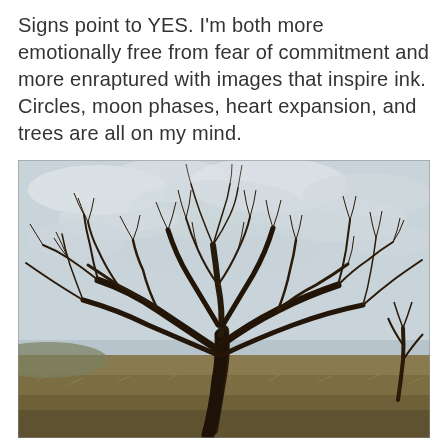Signs point to YES. I'm both more emotionally free from fear of commitment and more enraptured with images that inspire ink. Circles, moon phases, heart expansion, and trees are all on my mind.
[Figure (photo): A bare, leafless tree standing alone in a dry grassland field under an overcast, cloudy sky. The tree has many spreading branches without leaves. The landscape is flat with yellowed grass and low hills visible in the background.]